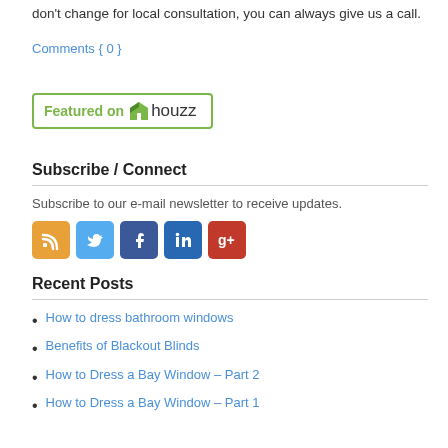don't change for local consultation, you can always give us a call.
Comments { 0 }
[Figure (logo): Featured on Houzz badge with green border, green text 'Featured on', Houzz logo icon, and 'houzz' wordmark]
Subscribe / Connect
Subscribe to our e-mail newsletter to receive updates.
[Figure (infographic): Row of 5 social media icons: RSS (orange), Twitter (blue), Facebook (dark blue), LinkedIn (blue), Google+ (red)]
Recent Posts
How to dress bathroom windows
Benefits of Blackout Blinds
How to Dress a Bay Window – Part 2
How to Dress a Bay Window – Part 1